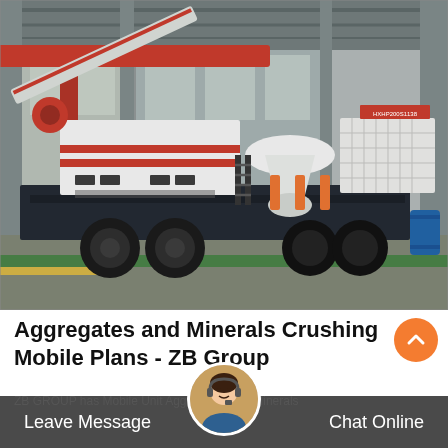[Figure (photo): Mobile crushing plant on a wheeled trailer inside a large industrial factory building. The machine is white and black with orange/red accents, featuring a cone crusher and conveyor arm. Red overhead crane visible in background.]
Aggregates and Minerals Crushing Mobile Plants - ZB Group
ZB GROUP has Mobile Unit Aggregates and Minerals